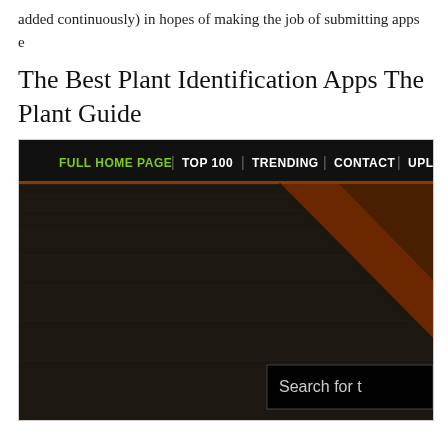added continuously) in hopes of making the job of submitting apps e
The Best Plant Identification Apps The Plant Guide
[Figure (screenshot): Screenshot of The Plant Guide website showing a dark-themed navigation bar with menu items: FULL HOME PAGE, TOP 100, TRENDING, CONTACT, UPLOAD, and a dark hero image area with a brown diagonal element and a 'Search for t...' search box in the lower right.]